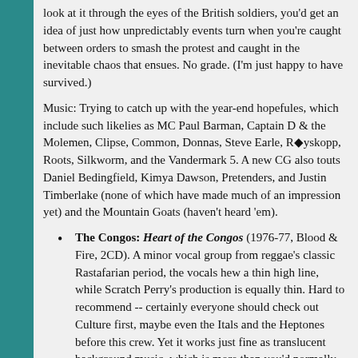look at it through the eyes of the British soldiers, you'd get an idea of just how unpredictably events turn when you're caught between orders to smash the protest and caught in the inevitable chaos that ensues. No grade. (I'm just happy to have survived.)
Music: Trying to catch up with the year-end hopefules, which include such likelies as MC Paul Barman, Captain D & the Molemen, Clipse, Common, Donnas, Steve Earle, R◆yskopp, Roots, Silkworm, and the Vandermark 5. A new CG also touts Daniel Bedingfield, Kimya Dawson, Pretenders, and Justin Timberlake (none of which have made much of an impression yet) and the Mountain Goats (haven't heard 'em).
The Congos: Heart of the Congos (1976-77, Blood & Fire, 2CD). A minor vocal group from reggae's classic Rastafarian period, the vocals hew a thin high line, while Scratch Perry's production is equally thin. Hard to recommend -- certainly everyone should check out Culture first, maybe even the Itals and the Heptones before this crew. Yet it works just fine as translucent background music, which is more than you'd normally expect from a set that I'd still want to